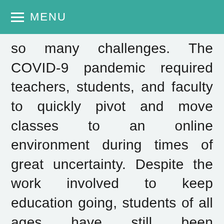≡ MENU
so many challenges. The COVID-9 pandemic required teachers, students, and faculty to quickly pivot and move classes to an online environment during times of great uncertainty. Despite the work involved to keep education going, students of all ages have still been significantly impacted by [...]